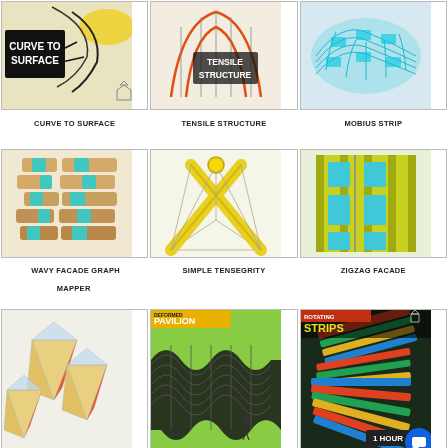[Figure (illustration): Curve to Surface 3D architectural model thumbnail with text overlay]
CURVE TO SURFACE
[Figure (illustration): Tensile Structure architectural visualization thumbnail]
TENSILE STRUCTURE
[Figure (illustration): Mobius Strip 3D model with cyan grid mesh]
MOBIUS STRIP
[Figure (illustration): Wavy Facade Graph Mapper 3D model with tan and cyan bricks]
WAVY FACADE GRAPH MAPPER
[Figure (illustration): Simple Tensegrity structure with yellow X-shaped frame]
SIMPLE TENSEGRITY
[Figure (illustration): Zigzag Facade panel with yellow-green and cyan pattern]
ZIGZAG FACADE
[Figure (illustration): Pyramid geometric shapes red and tan with glass tops]
[Figure (illustration): Deformed Pavilion wavy black mesh structure with PAVILION text overlay]
[Figure (illustration): Rotating Strips colorful layered structure with STRIPS text and 1 HOUR badge]